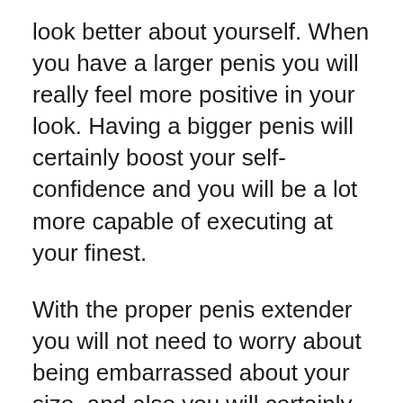look better about yourself. When you have a larger penis you will really feel more positive in your look. Having a bigger penis will certainly boost your self-confidence and you will be a lot more capable of executing at your finest.
With the proper penis extender you will not need to worry about being embarrassed about your size. and also you will certainly no longer need to rely upon various other methods for penis enhancement. You will certainly be able to show off your member to those you desire.
You will certainly additionally seem like your penis is firmer, longer as well as more powerful. As soon as you find the most